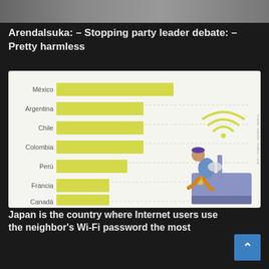[Figure (photo): Top banner photo strip showing people]
Arendalsuka: – Stopping party leader debate: – Pretty harmless
[Figure (bar-chart): Horizontal bar chart showing Latin American and other countries usage of neighbor Wi-Fi passwords, with an infographic illustration of a person sitting on a router with Wi-Fi signal icons]
Japan is the country where Internet users use the neighbor's Wi-Fi password the most